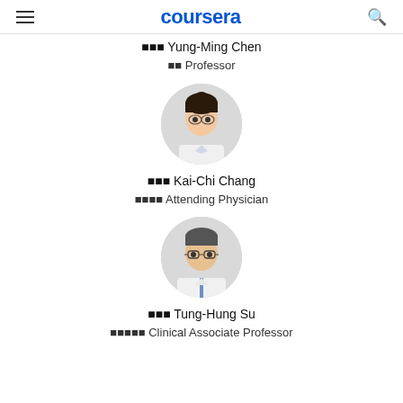coursera
⊠⊠⊠ Yung-Ming Chen
⊠⊠ Professor
[Figure (photo): Circular profile photo of Kai-Chi Chang, a woman in a white coat]
⊠⊠⊠ Kai-Chi Chang
⊠⊠⊠⊠ Attending Physician
[Figure (photo): Circular profile photo of Tung-Hung Su, a man with glasses in a white coat]
⊠⊠⊠ Tung-Hung Su
⊠⊠⊠⊠⊠ Clinical Associate Professor